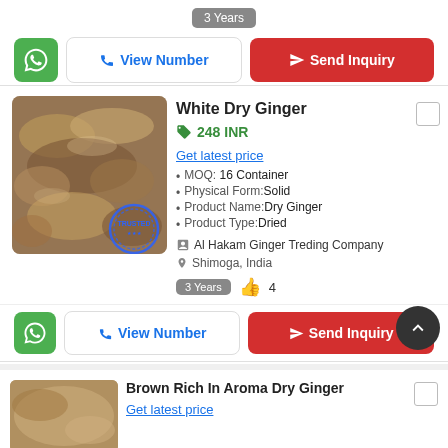3 Years
View Number | Send Inquiry (top bar)
White Dry Ginger
248 INR
Get latest price
MOQ: 16 Container
Physical Form: Solid
Product Name: Dry Ginger
Product Type: Dried
Al Hakam Ginger Treding Company
Shimoga, India
3 Years  4
View Number | Send Inquiry (bottom bar)
Brown Rich In Aroma Dry Ginger
Get latest price